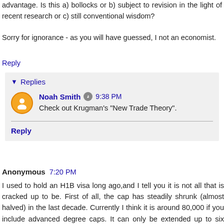advantage. Is this a) bollocks or b) subject to revision in the light of recent research or c) still conventional wisdom?
Sorry for ignorance - as you will have guessed, I not an economist.
Reply
Replies
Noah Smith  9:38 PM
Check out Krugman's "New Trade Theory".
Reply
Anonymous  7:20 PM
I used to hold an H1B visa long ago,and I tell you it is not all that is cracked up to be. First of all, the cap has steadily shrunk (almost halved) in the last decade. Currently I think it is around 80,000 if you include advanced degree caps. It can only be extended up to six years after which you either